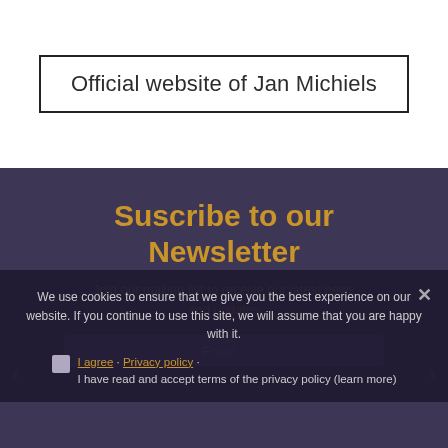Official website of Jan Michiels
Suscribe to our Newsletter
Join our mailing list to receive our latest news and updates
We use cookies to ensure that we give you the best experience on our website. If you continue to use this site, we will assume that you are happy with it.
I agree - Privacy policy · I have read and accept terms of the privacy policy (learn more)